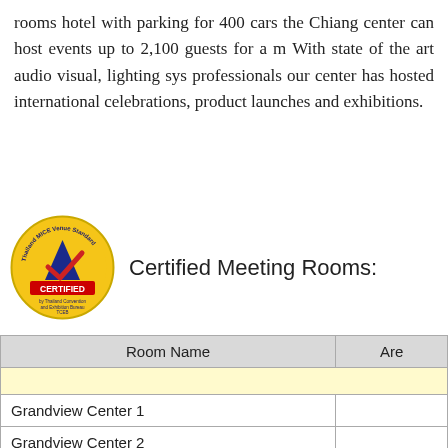rooms hotel with parking for 400 cars the Chiang center can host events up to 2,100 guests for a m With state of the art audio visual, lighting sys professionals our center has hosted international celebrations, product launches and exhibitions.
[Figure (logo): Thailand MICE Venue Standard Certified badge - circular gold badge with blue and red checkmark logo]
Certified Meeting Rooms:
| Room Name | Are |
| --- | --- |
|  |  |
| Grandview Center 1 |  |
| Grandview Center 2 |  |
| Grandview Center 3 |  |